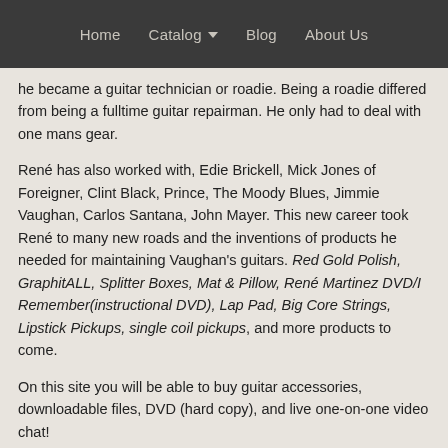Home | Catalog | Blog | About Us
he became a guitar technician or roadie. Being a roadie differed from being a fulltime guitar repairman. He only had to deal with one mans gear.
René has also worked with, Edie Brickell, Mick Jones of Foreigner, Clint Black, Prince, The Moody Blues, Jimmie Vaughan, Carlos Santana, John Mayer. This new career took René to many new roads and the inventions of products he needed for maintaining Vaughan's guitars. Red Gold Polish, GraphitALL, Splitter Boxes, Mat & Pillow, René Martinez DVD/I Remember(instructional DVD), Lap Pad, Big Core Strings, Lipstick Pickups, single coil pickups, and more products to come.
On this site you will be able to buy guitar accessories, downloadable files, DVD (hard copy), and live one-on-one video chat!